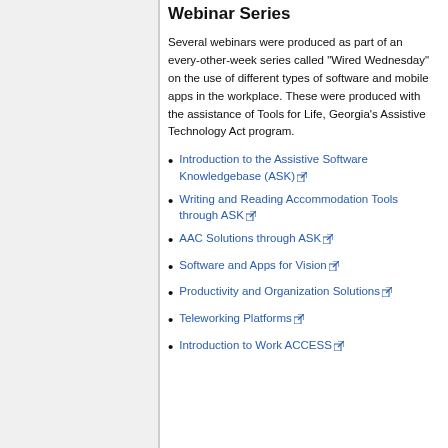Webinar Series
Several webinars were produced as part of an every-other-week series called "Wired Wednesday" on the use of different types of software and mobile apps in the workplace. These were produced with the assistance of Tools for Life, Georgia's Assistive Technology Act program.
Introduction to the Assistive Software Knowledgebase (ASK)
Writing and Reading Accommodation Tools through ASK
AAC Solutions through ASK
Software and Apps for Vision
Productivity and Organization Solutions
Teleworking Platforms
Introduction to Work ACCESS